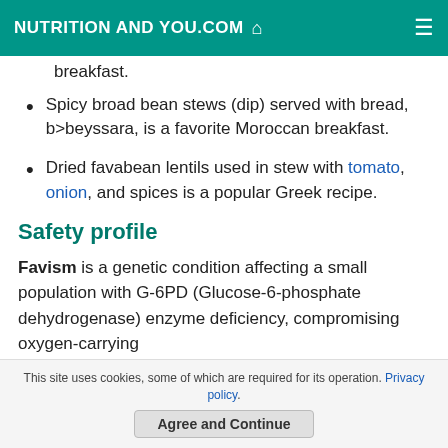NUTRITION AND YOU.COM
breakfast.
Spicy broad bean stews (dip) served with bread, b>beyssara, is a favorite Moroccan breakfast.
Dried favabean lentils used in stew with tomato, onion, and spices is a popular Greek recipe.
Safety profile
Favism is a genetic condition affecting a small population with G-6PD (Glucose-6-phosphate dehydrogenase) enzyme deficiency, compromising oxygen-carrying
This site uses cookies, some of which are required for its operation. Privacy policy.